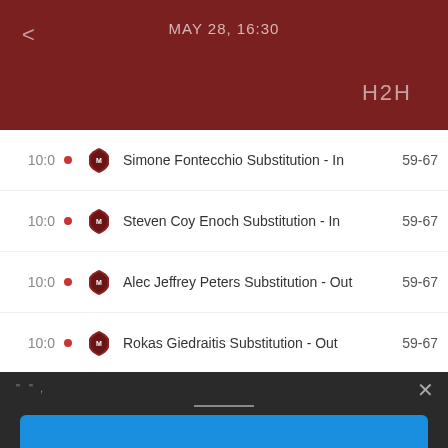MAY 28, 16:30
H2H
10:0  Simone Fontecchio Substitution - In  59-67
10:0  Steven Coy Enoch Substitution - In  59-67
10:0  Alec Jeffrey Peters Substitution - Out  59-67
10:0  Rokas Giedraitis Substitution - Out  59-67
10:0  Start of the Quarter  59-67